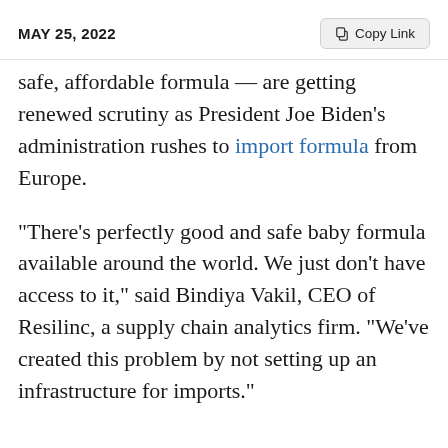MAY 25, 2022
safe, affordable formula — are getting renewed scrutiny as President Joe Biden's administration rushes to import formula from Europe.
“There’s perfectly good and safe baby formula available around the world. We just don’t have access to it,” said Bindiya Vakil, CEO of Resilinc, a supply chain analytics firm. “We’ve created this problem by not setting up an infrastructure for imports.”